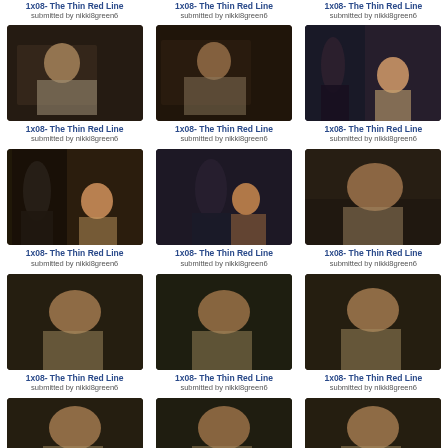[Figure (screenshot): Grid of 12 TV show screenshot thumbnails, each labeled '1x08- The Thin Red Line' submitted by nikki8green6. Row 1 shows partial top header text then 3 thumbnails of actors from a scene. Rows 2-4 show 3 thumbnails each.]
1x08- The Thin Red Line
submitted by nikki8green6
1x08- The Thin Red Line
submitted by nikki8green6
1x08- The Thin Red Line
submitted by nikki8green6
1x08- The Thin Red Line
submitted by nikki8green6
1x08- The Thin Red Line
submitted by nikki8green6
1x08- The Thin Red Line
submitted by nikki8green6
1x08- The Thin Red Line
submitted by nikki8green6
1x08- The Thin Red Line
submitted by nikki8green6
1x08- The Thin Red Line
submitted by nikki8green6
1x08- The Thin Red Line
submitted by nikki8green6
1x08- The Thin Red Line
submitted by nikki8green6
1x08- The Thin Red Line
submitted by nikki8green6